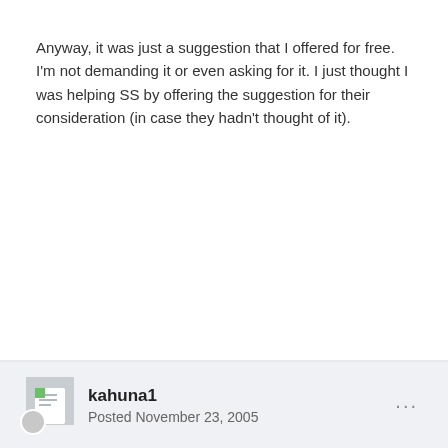Anyway, it was just a suggestion that I offered for free. I'm not demanding it or even asking for it. I just thought I was helping SS by offering the suggestion for their consideration (in case they hadn't thought of it).
kahuna1 — Posted November 23, 2005